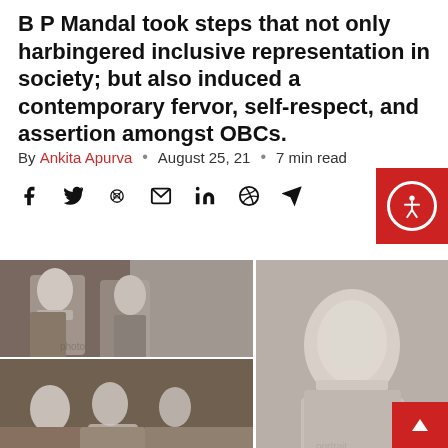B P Mandal took steps that not only harbingered inclusive representation in society; but also induced a contemporary fervor, self-respect, and assertion amongst OBCs.
By Ankita Apurva  •  August 25, 21  •  7 min read
[Figure (other): Social media sharing icons: Facebook, Twitter, WhatsApp, Email, LinkedIn, Reddit, Telegram]
[Figure (photo): Black and white photo collage: top left shows two men in formal attire, one wearing a turban; bottom left shows a group gathering with garlands; right side is a formal portrait of a man in Indian attire.]